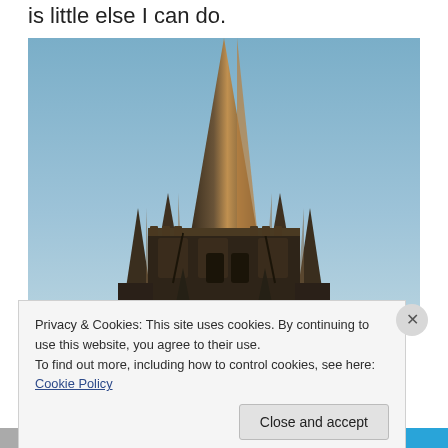is little else I can do.
[Figure (photo): Photograph of a Gothic cathedral spire against a blue sky, showing ornate stone carvings and pinnacles]
Privacy & Cookies: This site uses cookies. By continuing to use this website, you agree to their use.
To find out more, including how to control cookies, see here: Cookie Policy
Close and accept